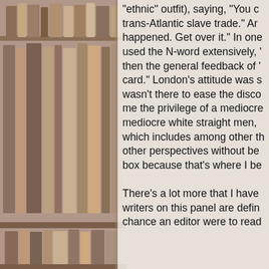“ethnic” outfit), saying, “You could argue it’s linked to the trans-Atlantic slave trade.” And then, “It happened. Get over it.” In one session, he used the N-word extensively, “reclaiming” it, and then the general feedback of “playing the race card.” London’s attitude was something like, I wasn’t there to ease the discomfort. Give me the privilege of a mediocre white man. Like mediocre white straight men, I wanted to fail, which includes among other things viewing other perspectives without being put into a box because that’s where I belong.

There’s a lot more that I have to say. The writers on this panel are definitely helping. On chance an editor were to read this piece, I want it noted that